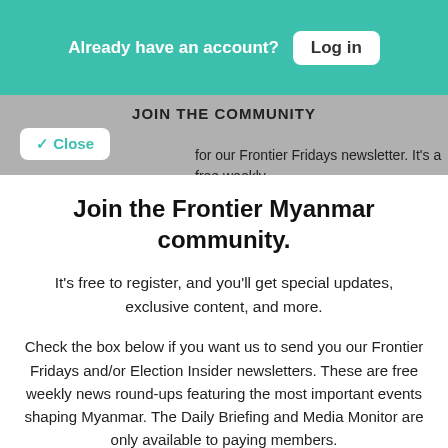Already have an account? Log in
JOIN THE COMMUNITY
for our Frontier Fridays newsletter. It's a free weekly featuring the most important events shaping Myanmar
Join the Frontier Myanmar community.
It's free to register, and you'll get special updates, exclusive content, and more.
Check the box below if you want us to send you our Frontier Fridays and/or Election Insider newsletters. These are free weekly news round-ups featuring the most important events shaping Myanmar. The Daily Briefing and Media Monitor are only available to paying members.